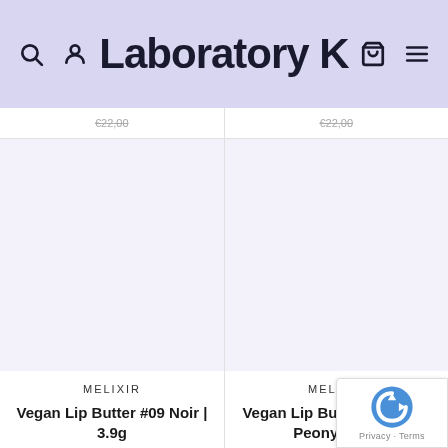Laboratory K
€22,00
€22,00
[Figure (photo): Product image area for Vegan Lip Butter #09 Noir, blank/white product display]
[Figure (photo): Product image area for Vegan Lip Butter #07 Plum Peony, blank/white product display]
MELIXIR
Vegan Lip Butter #09 Noir | 3.9g
€18,00
MELIXIR
Vegan Lip Butter #07 Plum Peony | 3.9g
€18,00